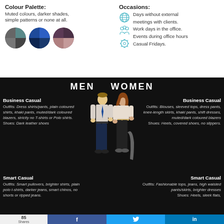Colour Palette:
Muted colours, darker shades, simple patterns or none at all.
[Figure (illustration): Three circular colour swatches showing muted colour palettes: grey/teal, dark navy/blue, and mauve/purple.]
Occasions:
Days without external meetings with clients. Work days in the office. Events during office hours Casual Fridays.
[Figure (infographic): Black background infographic showing Men and Women business casual and smart casual dress code guidelines with a central illustration of a man and woman in business casual attire.]
Business Casual
Outfits: Dress shirts/pants, plain coloured shirts, khaki pants, muted/dark coloured blazers, strictly no T-shirts or Polo shirts.
Shoes: Dark leather shoes
Business Casual
Outfits: Blouses, sleeved tops, dress pants, knee-length skirts, khaki pants, shift dresses, muted/dark coloured blazers
Shoes: Heels, covered shoes, no slippers.
Smart Casual
Outfits: Smart pullovers, brighter shirts, plain polo t-shirts, darker jeans, smart chinos, no shorts or ripped jeans.
Smart Casual
Outfits: Fashionable tops, jeans, high waisted pants/skirts, brighter dresses
Shoes: Heels, sleek flats,
85 Shares  f  (twitter)  in